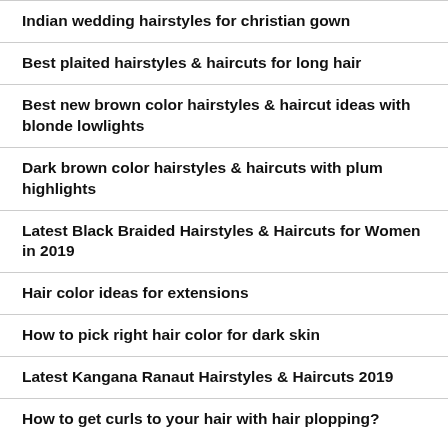Indian wedding hairstyles for christian gown
Best plaited hairstyles & haircuts for long hair
Best new brown color hairstyles & haircut ideas with blonde lowlights
Dark brown color hairstyles & haircuts with plum highlights
Latest Black Braided Hairstyles & Haircuts for Women in 2019
Hair color ideas for extensions
How to pick right hair color for dark skin
Latest Kangana Ranaut Hairstyles & Haircuts 2019
How to get curls to your hair with hair plopping?